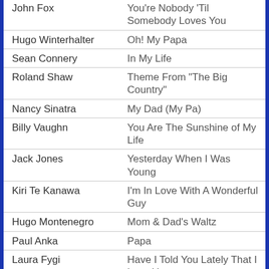| Artist | Song |
| --- | --- |
| John Fox | You're Nobody 'Til Somebody Loves You |
| Hugo Winterhalter | Oh! My Papa |
| Sean Connery | In My Life |
| Roland Shaw | Theme From "The Big Country" |
| Nancy Sinatra | My Dad (My Pa) |
| Billy Vaughn | You Are The Sunshine of My Life |
| Jack Jones | Yesterday When I Was Young |
| Kiri Te Kanawa | I'm In Love With A Wonderful Guy |
| Hugo Montenegro | Mom & Dad's Waltz |
| Paul Anka | Papa |
| Laura Fygi | Have I Told You Lately That I Love You |
| Harry Belafonte | Turn Around |
| Romantic Strings & Orchestra | What a Wonderful World |
| Mike Douglas | The Men In My Little Girl's Life |